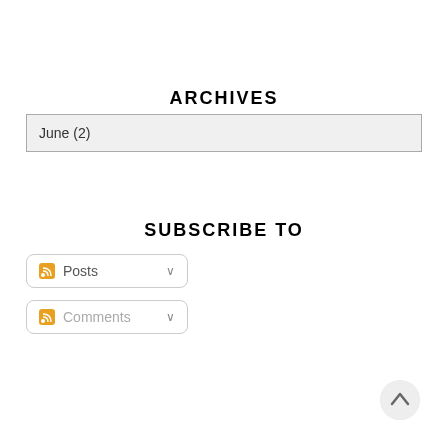ARCHIVES
June (2)
SUBSCRIBE TO
Posts
Comments